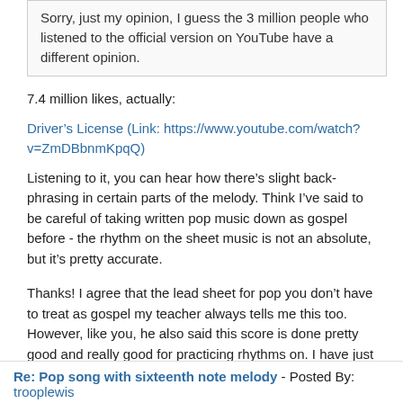Sorry, just my opinion, I guess the 3 million people who listened to the official version on YouTube have a different opinion.
7.4 million likes, actually:
Driver's License (Link: https://www.youtube.com/watch?v=ZmDBbnmKpqQ)
Listening to it, you can hear how there's slight back-phrasing in certain parts of the melody. Think I've said to be careful of taking written pop music down as gospel before - the rhythm on the sheet music is not an absolute, but it's pretty accurate.
Thanks! I agree that the lead sheet for pop you don't have to treat as gospel my teacher always tells me this too. However, like you, he also said this score is done pretty good and really good for practicing rhythms on. I have just been working on first couple bars, with clapping, dummy notes, and now trying hand together. I don't know if I'll be ready to learn whole piece anytime soon but even using a few bars as an exercise is really fun. I'm trying to get LH on autopilot and feel with the 1 + 2 + 3 + 4 + so I can try to get the RH melody better.
Re: Pop song with sixteenth note melody - Posted By: trooplewis